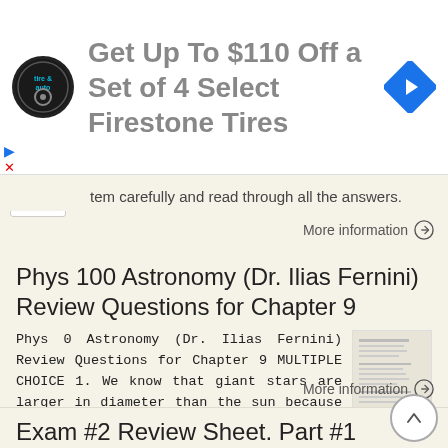[Figure (screenshot): Advertisement banner: Firestone tire & auto logo, text 'Get Up To $110 Off a Set of 4 Select Firestone Tires', blue diamond navigation arrow icon]
tem carefully and read through all the answers.
More information →
Phys 100 Astronomy (Dr. Ilias Fernini) Review Questions for Chapter 9
Phys 0 Astronomy (Dr. Ilias Fernini) Review Questions for Chapter 9 MULTIPLE CHOICE 1. We know that giant stars are larger in diameter than the sun because * a. they are more luminous but have about the
More information →
Exam #2 Review Sheet. Part #1 Clicker